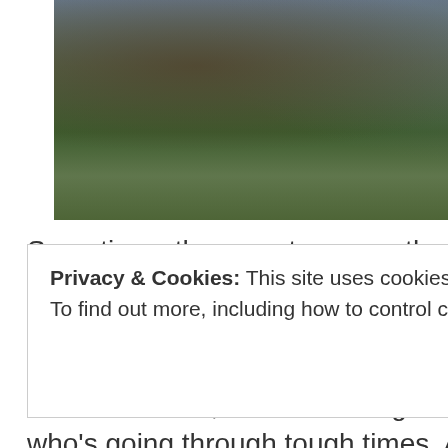[Figure (photo): Outdoor photo of a Buddhist archaeological site with rock formations, green lawn, stone structures, and overcast sky]
Sometimes the symptoms are the disease. Suffering is like that, and Buddhism knows that. Whether nirvana is the cure or not is unimportant to me, since nirvana's association with death is not conducive to a casual discussion of it, like discussing suicide with someone who's going through tough times. And the clarification that the Buddha's 'parinirvana' was something different is not especially helpful, not when the modern Sanskrit translation apparently is indeed 'death.'
Privacy & Cookies: This site uses cookies. By continuing to use this website, you agree to their use.
To find out more, including how to control cookies, see here: Cookie Policy
Close and accept